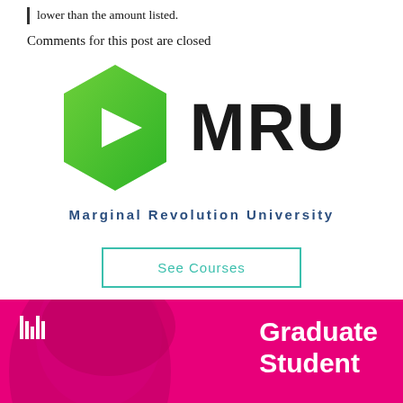lower than the amount listed.
Comments for this post are closed
[Figure (logo): Marginal Revolution University (MRU) logo: green hexagon with white play button triangle, followed by bold black text 'MRU']
Marginal Revolution University
See Courses
[Figure (illustration): Pink/magenta banner with a face portrait on the left, a small white geometric logo top-left, and white bold text 'Graduate Student' on the right]